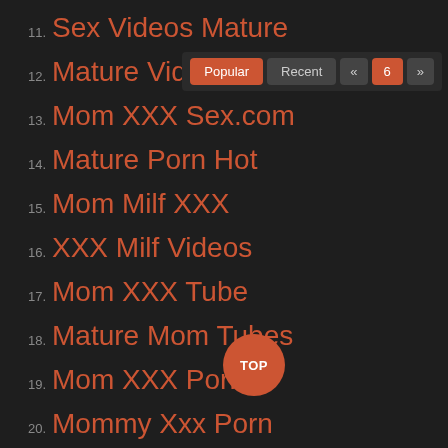11. Sex Videos Mature
12. Mature Videos Sex.com
13. Mom XXX Sex.com
14. Mature Porn Hot
15. Mom Milf XXX
16. XXX Milf Videos
17. Mom XXX Tube
18. Mature Mom Tubes
19. Mom XXX Porn
20. Mommy Xxx Porn
21. Mature Porn Films